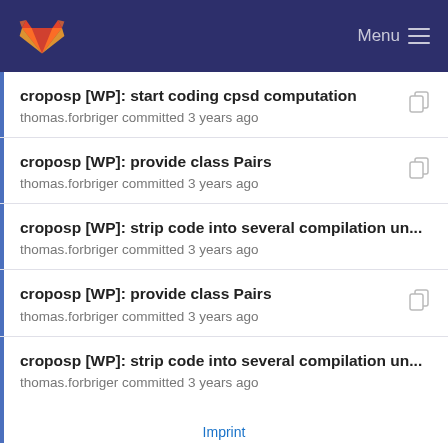GitLab — Menu
croposp [WP]: start coding cpsd computation
thomas.forbriger committed 3 years ago
croposp [WP]: provide class Pairs
thomas.forbriger committed 3 years ago
croposp [WP]: strip code into several compilation un...
thomas.forbriger committed 3 years ago
croposp [WP]: provide class Pairs
thomas.forbriger committed 3 years ago
croposp [WP]: strip code into several compilation un...
thomas.forbriger committed 3 years ago
Imprint